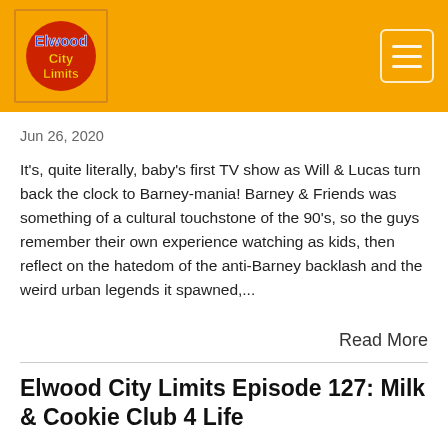Elwood City Limits — site header with logo and navigation hamburger menu
Jun 26, 2020
It's, quite literally, baby's first TV show as Will & Lucas turn back the clock to Barney-mania! Barney & Friends was something of a cultural touchstone of the 90's, so the guys remember their own experience watching as kids, then reflect on the hatedom of the anti-Barney backlash and the weird urban legends it spawned,...
Read More
Elwood City Limits Episode 127: Milk & Cookie Club 4 Life
[Figure (screenshot): Podcast audio player widget showing ELWOOD CITY LIMITS PODCAST label, episode title 'Elwood City Limits Episode 127: Milk & Cooki...', a play button (orange triangle), a progress bar, time display 00:00:00 in orange, and control icons for subscribe, download, embed, and share.]